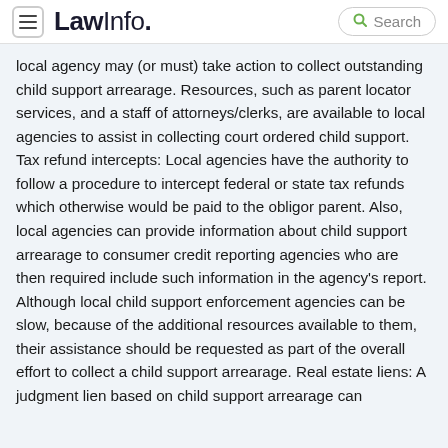LawInfo. Search
local agency may (or must) take action to collect outstanding child support arrearage. Resources, such as parent locator services, and a staff of attorneys/clerks, are available to local agencies to assist in collecting court ordered child support. Tax refund intercepts: Local agencies have the authority to follow a procedure to intercept federal or state tax refunds which otherwise would be paid to the obligor parent. Also, local agencies can provide information about child support arrearage to consumer credit reporting agencies who are then required include such information in the agency's report. Although local child support enforcement agencies can be slow, because of the additional resources available to them, their assistance should be requested as part of the overall effort to collect a child support arrearage. Real estate liens: A judgment lien based on child support arrearage can